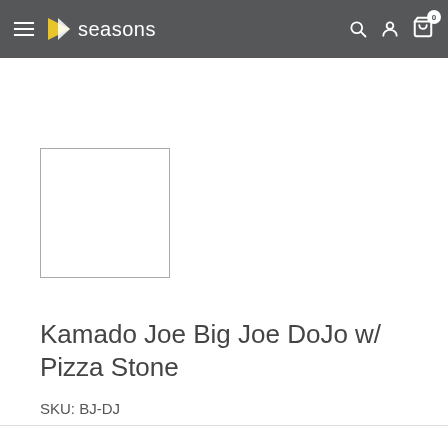4seasons — navigation bar with menu, logo, search, account, and cart icons
[Figure (other): Product image placeholder — empty white square with grey border]
Kamado Joe Big Joe DoJo w/ Pizza Stone
SKU: BJ-DJ